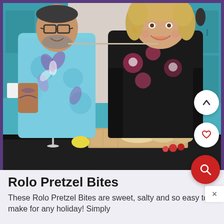[Figure (photo): Two people in a kitchen — a man on the left wearing glasses and a colorful teal patterned shirt, pouring a cocktail shaker into a martini glass, and a woman on the right with curly blonde hair wearing a black floral top, cutting bread on a wooden cutting board. Kitchen has teal cabinets in the background.]
Rolo Pretzel Bites
These Rolo Pretzel Bites are sweet, salty and so easy to make for any holiday! Simply